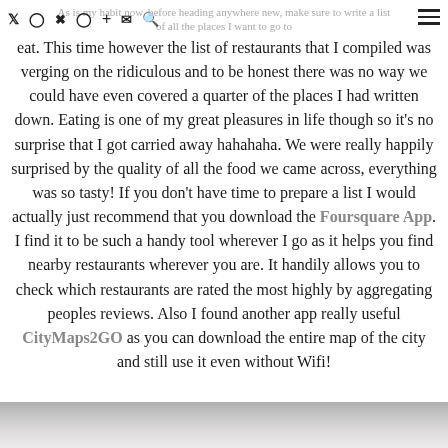As is my habit now, before heading anywhere new, make sure to write a list of all the places I want to go to
eat. This time however the list of restaurants that I compiled was verging on the ridiculous and to be honest there was no way we could have even covered a quarter of the places I had written down. Eating is one of my great pleasures in life though so it's no surprise that I got carried away hahahaha. We were really happily surprised by the quality of all the food we came across, everything was so tasty! If you don't have time to prepare a list I would actually just recommend that you download the Foursquare App. I find it to be such a handy tool wherever I go as it helps you find nearby restaurants wherever you are. It handily allows you to check which restaurants are rated the most highly by aggregating peoples reviews. Also I found another app really useful CityMaps2GO as you can download the entire map of the city and still use it even without Wifi!
[Figure (photo): Bottom strip showing a partial photo, appears to be food or a restaurant scene in grey tones]